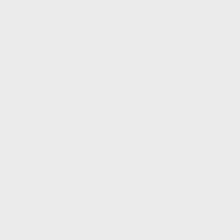| Time | Description |
| --- | --- |
| ago | serve. - A better so serving html attach |
| 3 months ago | Document the logic search a bit |
| 3 months ago | Allow file upload by drop into text input image preview. |
| 3 months ago | improve i18n hand |
| 4 months ago | Replace references roundup/dist/comm |
| 4 months ago | mistune 2.0 suppo |
| 5 months ago | Login limit needs to REST and xmlrpc a |
| 6 months ago | Fix roundup for rem and cgitb standard modules (and FieldStorage/MiniF |